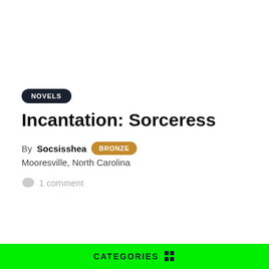NOVELS
Incantation: Sorceress
By Socsisshea BRONZE
Mooresville, North Carolina
1 comment
CATEGORIES